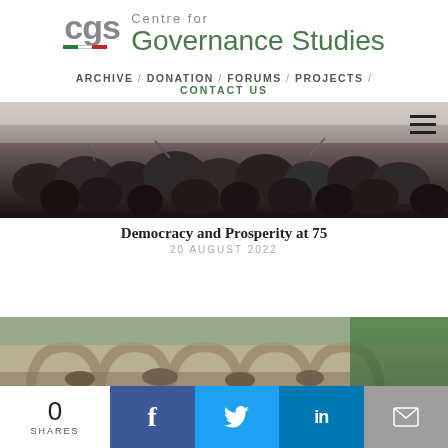[Figure (logo): CGS logo with Centre for Governance Studies text and Italian tricolor flag stripe]
ARCHIVE / DONATION / FORUMS / PROJECTS / CONTACT US
[Figure (photo): Black and white photograph of a crowd of people at a public gathering]
Democracy and Prosperity at 75
20 AUGUST 2022
[Figure (photo): Color photograph of an arched building with a crowd and green trees in background]